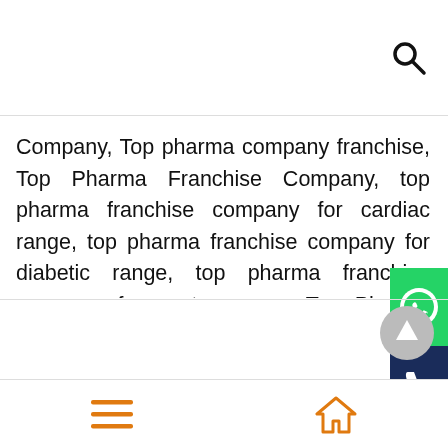Search icon (magnifying glass)
Company, Top pharma company franchise, Top Pharma Franchise Company, top pharma franchise company for cardiac range, top pharma franchise company for diabetic range, top pharma franchise company for gastro range, Top Pharma Franchise Ointments, Top Pharma Pcd Company, Top Third Party Manufacturer, Urology Medicine Company, Uttar Pradesh, What is Pcd Pharma Company, Wholesale Generic Medicine
[Figure (other): WhatsApp contact button (green background with WhatsApp icon)]
[Figure (other): Phone call button (dark navy background with phone handset icon)]
[Figure (other): Scroll to top circular button (grey circle with upward arrow)]
Navigation bar with hamburger menu icon and home icon in orange